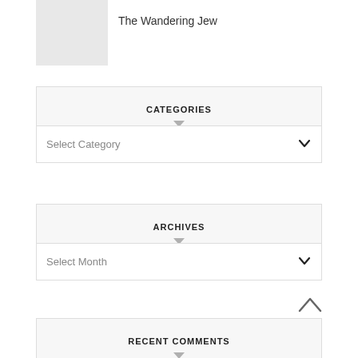[Figure (other): Gray placeholder image thumbnail]
The Wandering Jew
CATEGORIES
[Figure (other): Dropdown select: Select Category with chevron]
ARCHIVES
[Figure (other): Dropdown select: Select Month with chevron]
RECENT COMMENTS